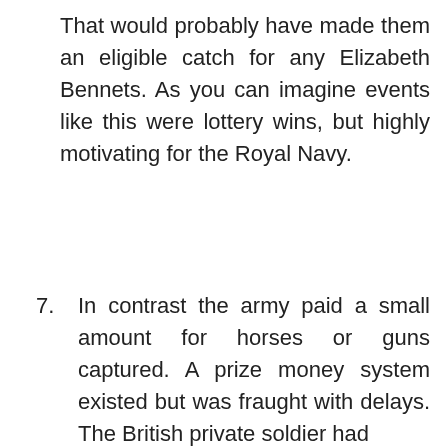That would probably have made them an eligible catch for any Elizabeth Bennets. As you can imagine events like this were lottery wins, but highly motivating for the Royal Navy.
7. In contrast the army paid a small amount for horses or guns captured. A prize money system existed but was fraught with delays. The British private soldier had